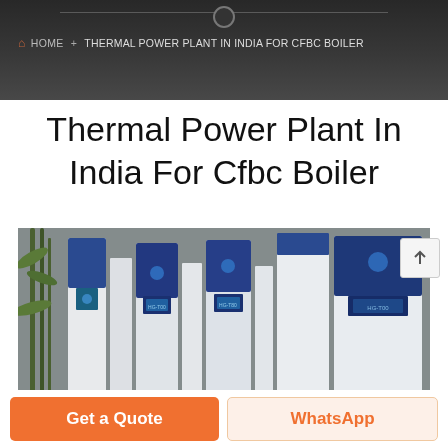HOME + THERMAL POWER PLANT IN INDIA FOR CFBC BOILER
Thermal Power Plant In India For Cfbc Boiler
[Figure (photo): Industrial boilers/heat pump units arranged in a row, blue and white colored vertical cabinet units with display screens, set against a stone wall background with bamboo plants]
Get a Quote
WhatsApp